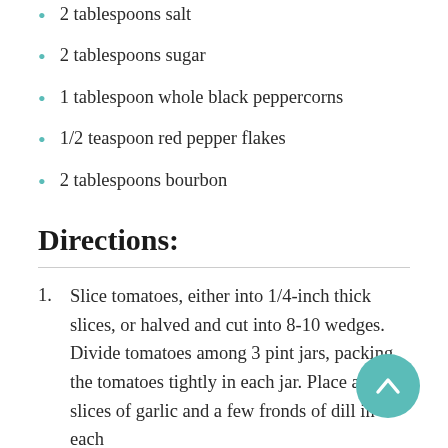2 tablespoons salt
2 tablespoons sugar
1 tablespoon whole black peppercorns
1/2 teaspoon red pepper flakes
2 tablespoons bourbon
Directions:
Slice tomatoes, either into 1/4-inch thick slices, or halved and cut into 8-10 wedges. Divide tomatoes among 3 pint jars, packing the tomatoes tightly in each jar. Place a few slices of garlic and a few fronds of dill in each